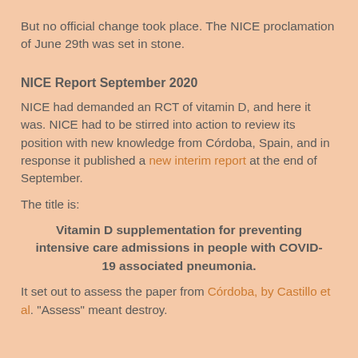But no official change took place. The NICE proclamation of June 29th was set in stone.
NICE Report September 2020
NICE had demanded an RCT of vitamin D, and here it was. NICE had to be stirred into action to review its position with new knowledge from Córdoba, Spain, and in response it published a new interim report at the end of September.
The title is:
Vitamin D supplementation for preventing intensive care admissions in people with COVID-19 associated pneumonia.
It set out to assess the paper from Córdoba, by Castillo et al. "Assess" meant destroy.